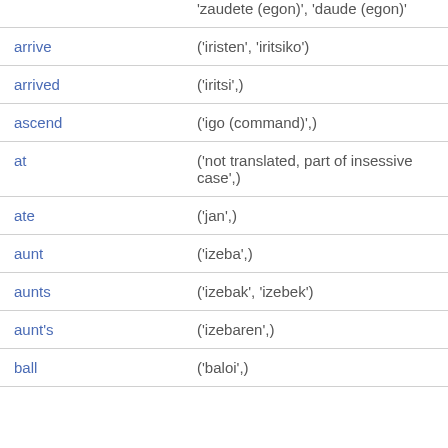| English | Basque |
| --- | --- |
|  | 'zaudete (egon)', 'daude (egon)' |
| arrive | ('iristen', 'iritsiko') |
| arrived | ('iritsi',) |
| ascend | ('igo (command)',) |
| at | ('not translated, part of insessive case',) |
| ate | ('jan',) |
| aunt | ('izeba',) |
| aunts | ('izebak', 'izebek') |
| aunt's | ('izebaren',) |
| ball | ('baloi',) |